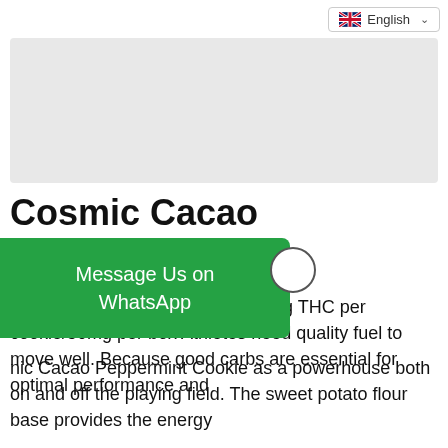English
[Figure (photo): Product image placeholder – light gray background]
Cosmic Cacao Peppermint
$20.00
Cosmic Cacao Peppermint: 10mg THC per cookie/50mg per box Athletes need quality fuel to move well. Because good carbs are essential for optimal performance and ... nic Cacao Peppermint Cookie as a powerhouse both on and off the playing field. The sweet potato flour base provides the energy
[Figure (screenshot): Message Us on WhatsApp green button overlay with WhatsApp circle icon]